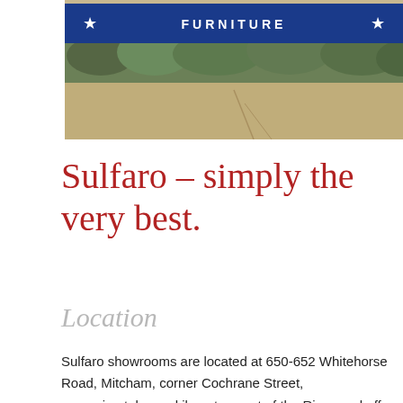[Figure (photo): Outdoor photograph showing a blue store sign with stars and the word 'FURNITURE', with green shrubs below and a concrete sidewalk/driveway in the foreground.]
Sulfaro – simply the very best.
Location
Sulfaro showrooms are located at 650-652 Whitehorse Road, Mitcham, corner Cochrane Street, approximately one kilometre west of the Ringwood off ramps on Eastlink. There is ample off-street parking available.